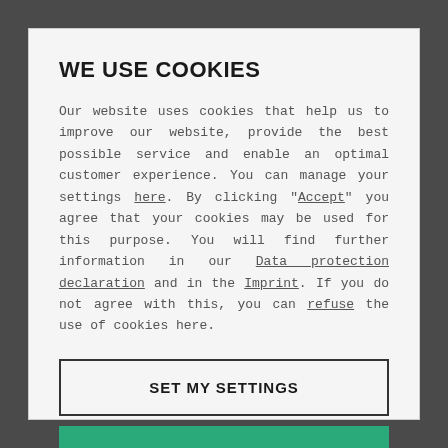WE USE COOKIES
Our website uses cookies that help us to improve our website, provide the best possible service and enable an optimal customer experience. You can manage your settings here. By clicking "Accept" you agree that your cookies may be used for this purpose. You will find further information in our Data protection declaration and in the Imprint. If you do not agree with this, you can refuse the use of cookies here.
SET MY SETTINGS
ACCEPT ALL